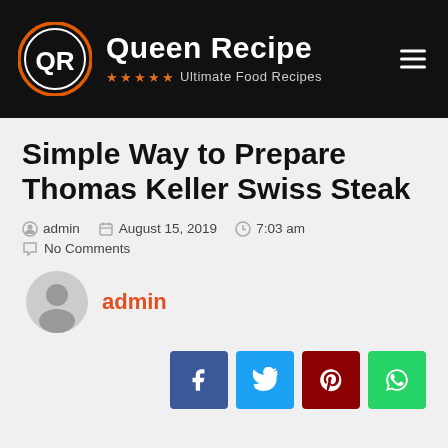Queen Recipe — Ultimate Food Recipes
Simple Way to Prepare Thomas Keller Swiss Steak
admin   August 15, 2019   7:03 am
No Comments
admin
[Figure (infographic): Social share buttons: Facebook, Twitter, Pinterest, WhatsApp]